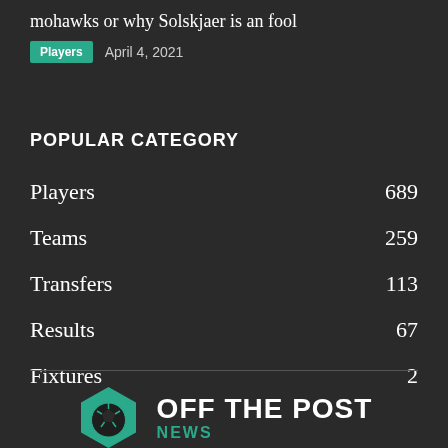mohawks or why Solskjaer is an fool
Players   April 4, 2021
POPULAR CATEGORY
Players 689
Teams 259
Transfers 113
Results 67
Fixtures 2
[Figure (logo): Off The Post News logo with teal hexagon soccer ball icon and white bold text OFF THE POST with teal NEWS subtitle]